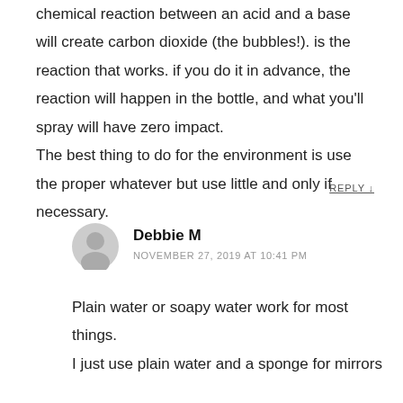chemical reaction between an acid and a base will create carbon dioxide (the bubbles!). is the reaction that works. if you do it in advance, the reaction will happen in the bottle, and what you'll spray will have zero impact.
The best thing to do for the environment is use the proper whatever but use little and only if necessary.
REPLY ↓
Debbie M
NOVEMBER 27, 2019 AT 10:41 PM
Plain water or soapy water work for most things. I just use plain water and a sponge for mirrors